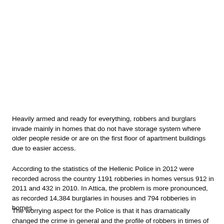Heavily armed and ready for everything, robbers and burglars invade mainly in homes that do not have storage system where older people reside or are on the first floor of apartment buildings due to easier access.
According to the statistics of the Hellenic Police in 2012 were recorded across the country 1191 robberies in homes versus 912 in 2011 and 432 in 2010. In Attica, the problem is more pronounced, as recorded 14,384 burglaries in houses and 794 robberies in homes.
The worrying aspect for the Police is that it has dramatically changed the crime in general and the profile of robbers in times of crisis. As noted, the perpetrators now bring their heavy weapons, such as Kalashnikovs, and